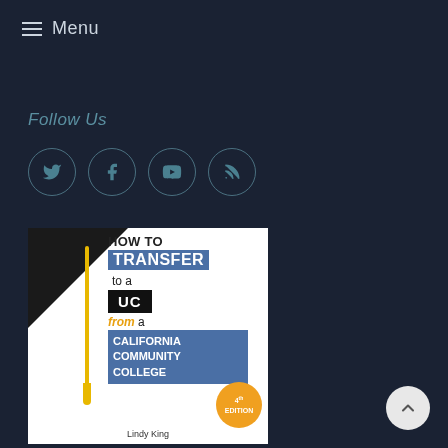≡ Menu
Follow Us
[Figure (illustration): Social media icons in circles: Twitter, Facebook, YouTube, RSS feed]
[Figure (photo): Book cover: 'How to Transfer to a UC from a California Community College, 4th Edition' by Lindy King. Features a graduation cap with gold tassel on white background.]